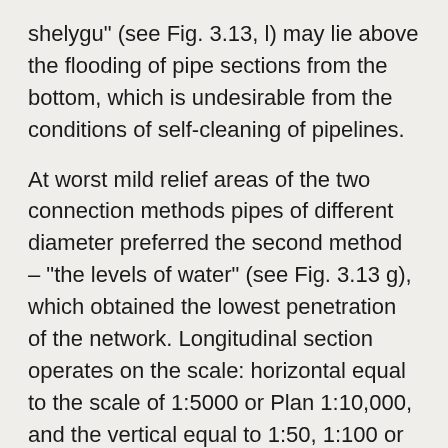shelygu" (see Fig. 3.13, l) may lie above the flooding of pipe sections from the bottom, which is undesirable from the conditions of self-cleaning of pipelines.
At worst mild relief areas of the two connection methods pipes of different diameter preferred the second method – "the levels of water" (see Fig. 3.13 g), which obtained the lowest penetration of the network. Longitudinal section operates on the scale: horizontal equal to the scale of 1:5000 or Plan 1:10,000, and the vertical equal to 1:50, 1:100 or 1:200. At the base of the profile is filled with four rows (bands) with the following data (bottom up): number of calculation points, the distance between them, the mark the ground; mark trays tube (see Fig. 3.11). The upper line of the line is considered a conditional horizon. Mark it made on 10 meters below the lowest